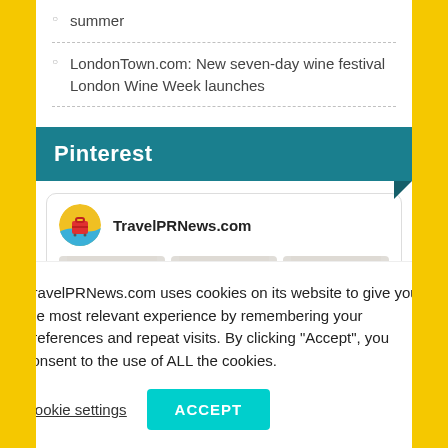summer
LondonTown.com: New seven-day wine festival London Wine Week launches
Pinterest
[Figure (screenshot): TravelPRNews.com Pinterest widget showing logo and three image thumbnails]
TravelPRNews.com uses cookies on its website to give you the most relevant experience by remembering your preferences and repeat visits. By clicking “Accept”, you consent to the use of ALL the cookies.
Cookie settings
ACCEPT